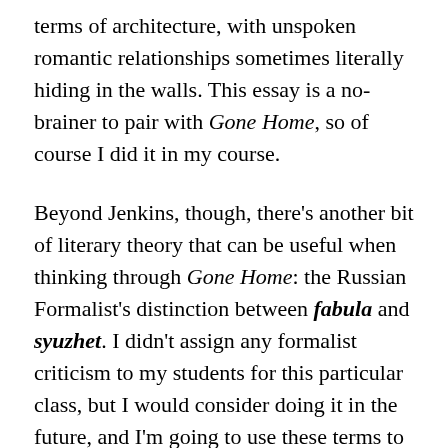terms of architecture, with unspoken romantic relationships sometimes literally hiding in the walls. This essay is a no-brainer to pair with Gone Home, so of course I did it in my course.
Beyond Jenkins, though, there's another bit of literary theory that can be useful when thinking through Gone Home: the Russian Formalist's distinction between fabula and syuzhet. I didn't assign any formalist criticism to my students for this particular class, but I would consider doing it in the future, and I'm going to use these terms to talk some about Gone Home's design here.
As proposed by Yury Tynyanov, the distinction between fabula and syuzhet is the distinction between what we might call story, and how that story is plotted. That is: the fabula consists of the in-universe events that